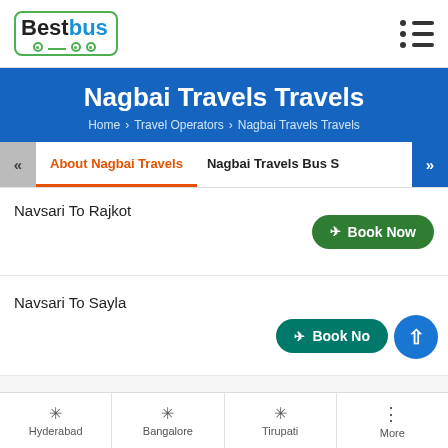[Figure (logo): BestBus logo with bus icon and hamburger menu icon]
Nagbai Travels Travels
Home > Travel Operators > Nagbai Travels Travels
About Nagbai Travels | Nagbai Travels Bus S
Navsari To Rajkot
Book Now
Navsari To Sayla
Book No
Hyderabad
Bangalore
Tirupati
More